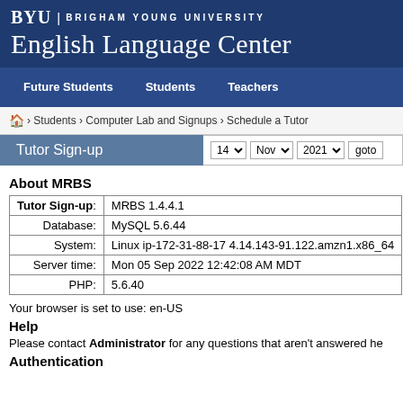BYU | BRIGHAM YOUNG UNIVERSITY
English Language Center
Future Students   Students   Teachers
Home › Students › Computer Lab and Signups › Schedule a Tutor
Tutor Sign-up  14 ▼  Nov ▼  2021 ▼  goto
About MRBS
|  |  |
| --- | --- |
| Tutor Sign-up: | MRBS 1.4.4.1 |
| Database: | MySQL 5.6.44 |
| System: | Linux ip-172-31-88-17 4.14.143-91.122.amzn1.x86_64 |
| Server time: | Mon 05 Sep 2022 12:42:08 AM MDT |
| PHP: | 5.6.40 |
Your browser is set to use: en-US
Help
Please contact Administrator for any questions that aren't answered he...
Authentication